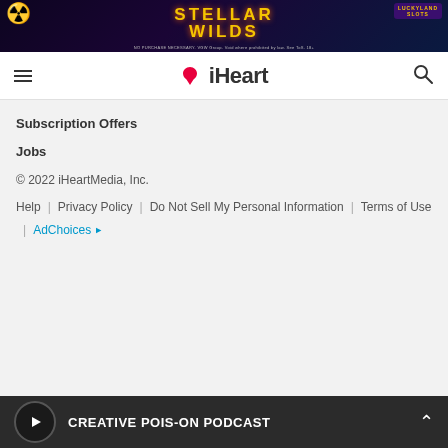[Figure (illustration): Stellar Wilds ad banner for LuckyLand Slots with colorful space theme, atom graphic, and text reading NO PURCHASE NECESSARY. VGW Group. Void where prohibited by law. See ToS. 18+]
iHeart
Subscription Offers
Jobs
© 2022 iHeartMedia, Inc.
Help | Privacy Policy | Do Not Sell My Personal Information | Terms of Use | AdChoices
CREATIVE POIS-ON PODCAST